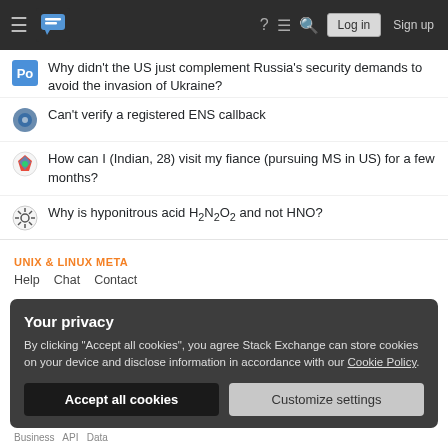Stack Exchange navigation bar with Log in and Sign up buttons
Why didn't the US just complement Russia's security demands to avoid the invasion of Ukraine?
Can't verify a registered ENS callback
How can I (Indian, 28) visit my fiance (pursuing MS in US) for a few months?
Why is hyponitrous acid H2N2O2 and not HNO?
UNIX & LINUX META
Help  Chat  Contact
Your privacy
By clicking "Accept all cookies", you agree Stack Exchange can store cookies on your device and disclose information in accordance with our Cookie Policy.
Accept all cookies   Customize settings